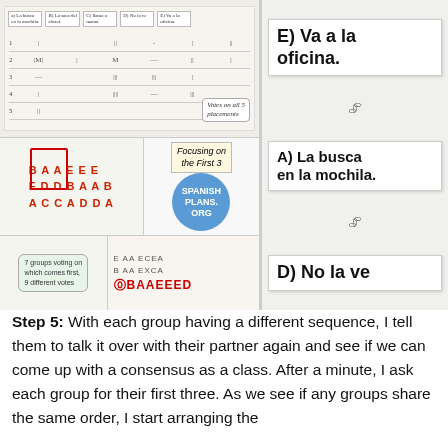[Figure (photo): Classroom activity collage showing a whiteboard with sticky notes labeled A-E for Spanish sentences, tally marks from student votes, a letter grid with student answers (B,A,A,E,E,F,D,D,B,A,A,B,A,C,C,A,D,D,A), a blue circle with 'SPANISH PLANS.ORG', a speech bubble saying 'Focusing on the First 3', a note '7 groups voting on which comes first, 9 different votes', and a sequence 'E AA ECEA / B AA EXCA / BAAEEED'. On the right, flashcards clipped together showing: E) Va a la oficina., A) La busca en la mochila., D) No la ve]
Step 5: With each group having a different sequence, I tell them to talk it over with their partner again and see if we can come up with a consensus as a class. After a minute, I ask each group for their first three. As we see if any groups share the same order, I start arranging the